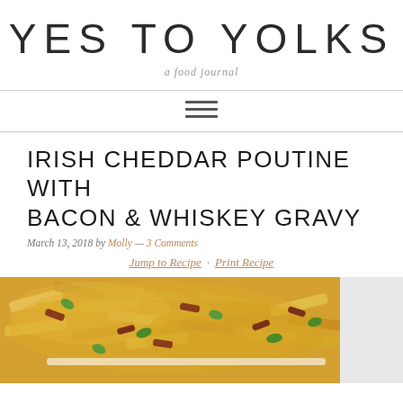YES TO YOLKS
a food journal
IRISH CHEDDAR POUTINE WITH BACON & WHISKEY GRAVY
March 13, 2018 by Molly — 3 Comments
Jump to Recipe · Print Recipe
[Figure (photo): Photo of Irish cheddar poutine with bacon and whiskey gravy — fries topped with melted cheese, bacon pieces, and sliced green onions in a white dish]